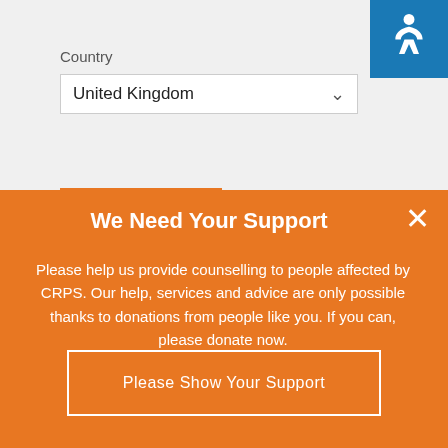Country
United Kingdom
Subscribe
CONTACT INFO
news@burningnightscrps.org
Registered Charity No. 1166522
We Need Your Support
Please help us provide counselling to people affected by CRPS. Our help, services and advice are only possible thanks to donations from people like you. If you can, please donate now.
Please Show Your Support